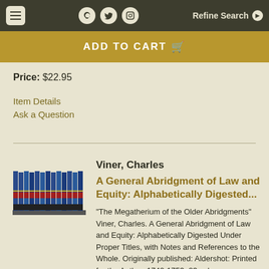ADD TO CART | Refine Search
Price: $22.95
Item Details
Ask a Question
[Figure (photo): A set of blue and red law books arranged on a shelf, multiple volumes]
Viner, Charles
A General Abridgment of Law and Equity: Alphabetically Digested...
"The Megatherium of the Older Abridgments" Viner, Charles. A General Abridgment of Law and Equity: Alphabetically Digested Under Proper Titles, with Notes and References to the Whole. Originally published: Aldershot: Printed for the Author, 1742-1753. 23 volumes. Hardcover folio (9" x 14") [with] one searchable DVD. Reprinted 2009, 2014 by